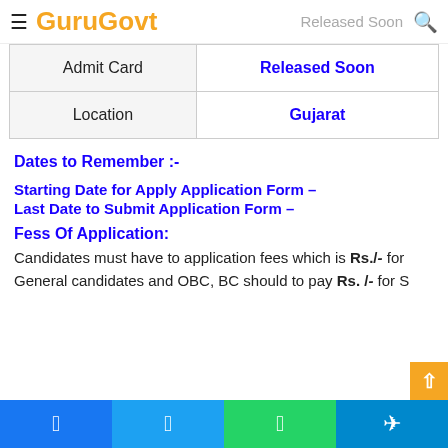GuruGovt  Released Soon
| Admit Card | Released Soon |
| Location | Gujarat |
Dates to Remember :-
Starting Date for Apply Application Form –
Last Date to Submit Application Form –
Fess Of Application:
Candidates must have to application fees which is Rs.I- for General candidates and OBC, BC should to pay Rs. I- for S